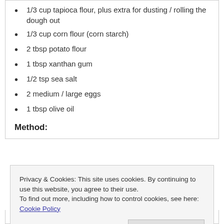1/3 cup tapioca flour, plus extra for dusting / rolling the dough out
1/3 cup corn flour (corn starch)
2 tbsp potato flour
1 tbsp xanthan gum
1/2 tsp sea salt
2 medium / large eggs
1 tbsp olive oil
Method:
Privacy & Cookies: This site uses cookies. By continuing to use this website, you agree to their use.
To find out more, including how to control cookies, see here: Cookie Policy
medium speed for a couple of minutes, until